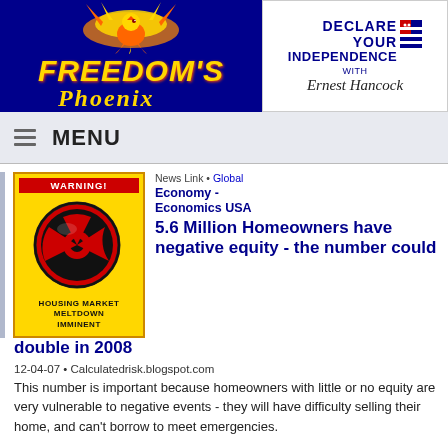[Figure (logo): Freedom's Phoenix website header logo with phoenix bird on dark blue background on left, and 'Declare Your Independence with Ernest Hancock' logo on white background on right]
MENU
[Figure (illustration): Warning sign with radiation symbol and text 'HOUSING MARKET MELTDOWN IMMINENT' on yellow background]
News Link • Global
Economy - Economics USA
5.6 Million Homeowners have negative equity - the number could double in 2008
12-04-07 • Calculatedrisk.blogspot.com
This number is important because homeowners with little or no equity are very vulnerable to negative events - they will have difficulty selling their home, and can't borrow to meet emergencies.